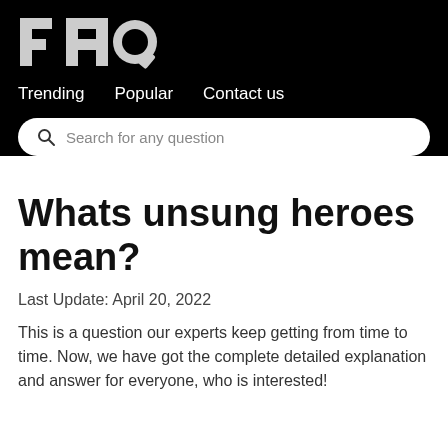FAQ
Trending  Popular  Contact us
Search for any question
Whats unsung heroes mean?
Last Update: April 20, 2022
This is a question our experts keep getting from time to time. Now, we have got the complete detailed explanation and answer for everyone, who is interested!